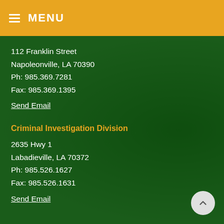≡ MENU
112 Franklin Street
Napoleonville, LA 70390
Ph: 985.369.7281
Fax: 985.369.1395
Send Email
Criminal Investigation Division
2635 Hwy 1
Labadieville, LA 70372
Ph: 985.526.1627
Fax: 985.526.1631
Send Email